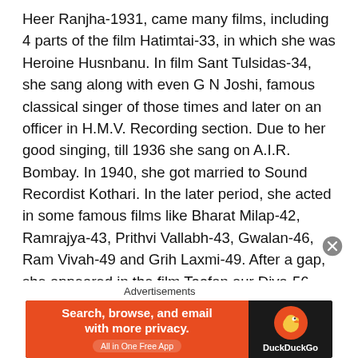Heer Ranjha-1931, came many films, including 4 parts of the film Hatimtai-33, in which she was Heroine Husnbanu. In film Sant Tulsidas-34, she sang along with even G N Joshi, famous classical singer of those times and later on an officer in H.M.V. Recording section. Due to her good singing, till 1936 she sang on A.I.R. Bombay. In 1940, she got married to Sound Recordist Kothari. In the later period, she acted in some famous films like Bharat Milap-42, Ramrajya-43, Prithvi Vallabh-43, Gwalan-46, Ram Vivah-49 and Grih Laxmi-49. After a gap, she appeared in the film Toofan aur Diya-56. She acted in few C grade films and her last film was Toofani Tarzan-62. She acted in 27 films and sang 21 songs in 8 films. She died on 18-1-2006
Advertisements
[Figure (other): DuckDuckGo advertisement banner with orange left panel reading 'Search, browse, and email with more privacy. All in One Free App' and dark right panel with DuckDuckGo duck logo.]